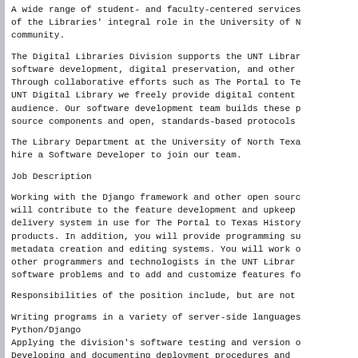A wide range of student- and faculty-centered services of the Libraries' integral role in the University of N community.
The Digital Libraries Division supports the UNT Librar software development, digital preservation, and other Through collaborative efforts such as The Portal to Te UNT Digital Library we freely provide digital content audience. Our software development team builds these p source components and open, standards-based protocols
The Library Department at the University of North Texa hire a Software Developer to join our team.
Job Description
Working with the Django framework and other open sourc will contribute to the feature development and upkeep delivery system in use for The Portal to Texas History products. In addition, you will provide programming su metadata creation and editing systems. You will work other programmers and technologists in the UNT Librar software problems and to add and customize features fo
Responsibilities of the position include, but are not
Writing programs in a variety of server-side languages Python/Django
Applying the division's software testing and version o
Developing and documenting deployment procedures and